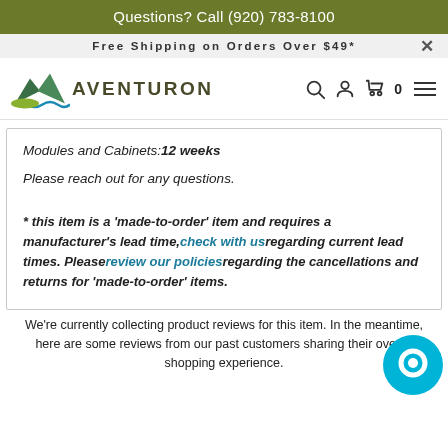Questions? Call (920) 783-8100
Free Shipping on Orders Over $49*
[Figure (logo): Aventuron outdoor gear logo with mountain and wave graphic]
Modules and Cabinets: 12 weeks
Please reach out for any questions.
* this item is a 'made-to-order' item and requires a manufacturer's lead time, check with us regarding current lead times. Please review our policies regarding the cancellations and returns for 'made-to-order' items.
We're currently collecting product reviews for this item. In the meantime, here are some reviews from our past customers sharing their overall shopping experience.